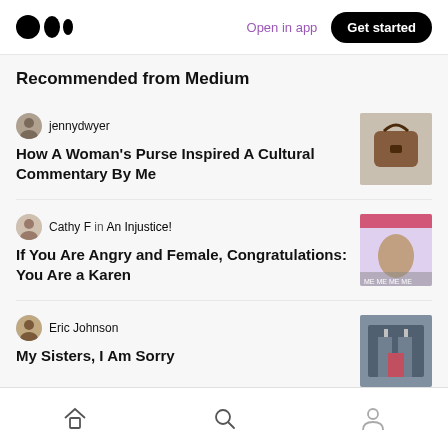Medium logo | Open in app | Get started
Recommended from Medium
jennydwyer
How A Woman's Purse Inspired A Cultural Commentary By Me
[Figure (photo): Thumbnail image of a brown leather purse/handbag]
Cathy F in An Injustice!
If You Are Angry and Female, Congratulations: You Are a Karen
[Figure (photo): Thumbnail image of a woman on a TV screen with text overlay]
Eric Johnson
My Sisters, I Am Sorry
[Figure (photo): Thumbnail image of a building entrance with people]
Home | Search | Profile navigation icons